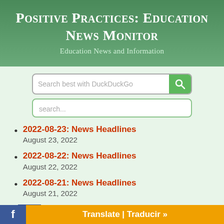Positive Practices: Education News Monitor
Education News and Information
[Figure (screenshot): Search bar with DuckDuckGo placeholder text and green search button]
[Figure (screenshot): Secondary search input field with 'search...' placeholder]
2022-08-23: News Headlines
August 23, 2022
2022-08-22: News Headlines
August 22, 2022
2022-08-21: News Headlines
August 21, 2022
2022-08-20: News Headlines
August 20, 2022
Translate | Traducir »